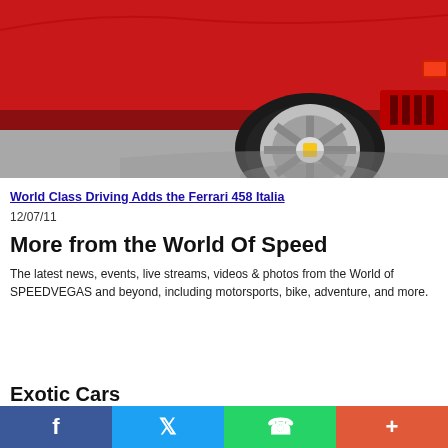[Figure (photo): Close-up rear quarter view of a red Ferrari 458 Italia with chrome alloy wheel on a grey studio floor]
World Class Driving Adds the Ferrari 458 Italia
12/07/11
More from the World Of Speed
The latest news, events, live streams, videos & photos from the World of SPEEDVEGAS and beyond, including motorsports, bike, adventure, and more.
Exotic Cars